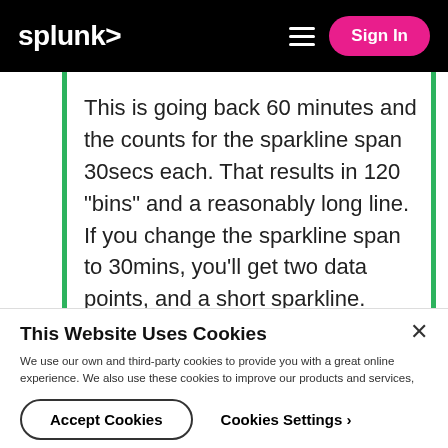splunk> Sign In
This is going back 60 minutes and the counts for the sparkline span 30secs each. That results in 120 "bins" and a reasonably long line. If you change the sparkline span to 30mins, you'll get two data points, and a short sparkline.  Sparklines
This Website Uses Cookies
We use our own and third-party cookies to provide you with a great online experience. We also use these cookies to improve our products and services, support our marketing campaigns, and advertise to you on our website and other websites. Some cookies may continue to collect information after you have left our website. Learn more here ›
Accept Cookies
Cookies Settings ›